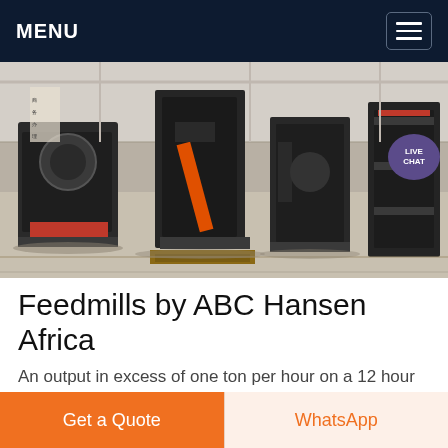MENU
[Figure (photo): Industrial feedmill machinery in a factory setting — large dark grey metal grinding and processing machines on a warehouse floor with a LIVE CHAT badge overlay]
Feedmills by ABC Hansen Africa
An output in excess of one ton per hour on a 12 hour shift is sufficient to feed an average of 200 000 chickens per day at average 50 grams of feed daily or some 1 200 cattle
Get a Quote
WhatsApp